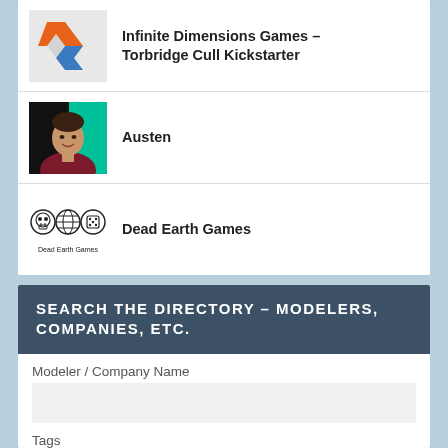[Figure (logo): Infinite Dimensions Games logo — orange and blue geometric arrow shape]
Infinite Dimensions Games – Torbridge Cull Kickstarter
[Figure (photo): Photo of a smiling man wearing a dark red plaid shirt against a black and green background]
Austen
[Figure (logo): Dead Earth Games logo — three circular icons (skull, globe, dice) with text 'Dead Earth Games' below]
Dead Earth Games
SEARCH THE DIRECTORY – MODELERS, COMPANIES, ETC.
Modeler / Company Name
Tags